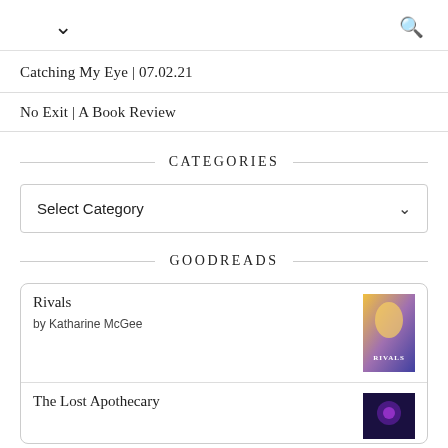▾  🔍
Catching My Eye | 07.02.21
No Exit | A Book Review
CATEGORIES
Select Category
GOODREADS
Rivals
by Katharine McGee
The Lost Apothecary